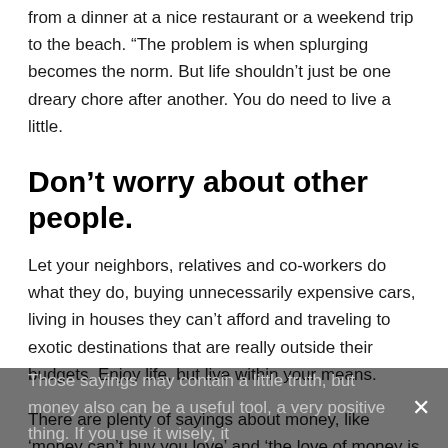from a dinner at a nice restaurant or a weekend trip to the beach. “The problem is when splurging becomes the norm. But life shouldn’t just be one dreary chore after another. You do need to live a little.
Don’t worry about other people.
Let your neighbors, relatives and co-workers do what they do, buying unnecessarily expensive cars, living in houses they can’t afford and traveling to exotic destinations that are really outside their budgets. Enjoy life, but live within your means.
There are plenty of sayings about money, like ‘money can’t buy you love’ and ‘the love of money is the root of all evil. Those sayings may contain a little truth, but money also can be a useful tool, a very positive thing. If you use it wisely, it